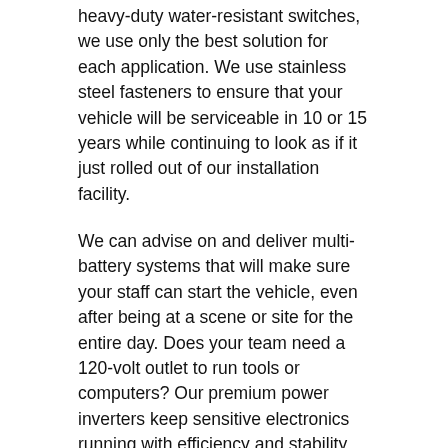heavy-duty water-resistant switches, we use only the best solution for each application. We use stainless steel fasteners to ensure that your vehicle will be serviceable in 10 or 15 years while continuing to look as if it just rolled out of our installation facility.
We can advise on and deliver multi-battery systems that will make sure your staff can start the vehicle, even after being at a scene or site for the entire day. Does your team need a 120-volt outlet to run tools or computers? Our premium power inverters keep sensitive electronics running with efficiency and stability so your staff can be productive.
While we're quoting your safety lighting system, ask us about window tint. If you or your employees spend your entire day in the truck, our UV-blocking window tint is guaranteed to keep the temperature comfortable for...